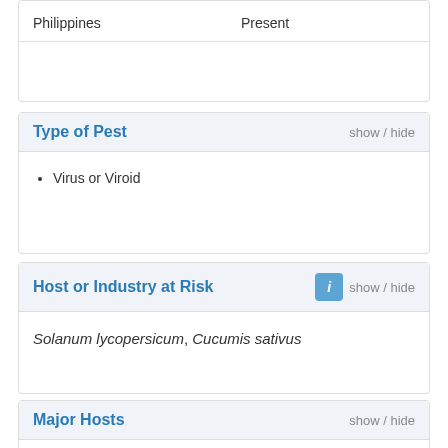| Philippines | Present |
Type of Pest
Virus or Viroid
Host or Industry at Risk
Solanum lycopersicum, Cucumis sativus
Major Hosts
Benincasa hispida (Thunb.) Cogn.
Calotropis procera (Ait.) R.Br./(L.) Dryand. Ex Ait.F.
Capsicum annuum L.
Capsicum frutescens L.
Carica papaya L.
Citrullus lanatus (Thunb.) Matsum. & Nakei